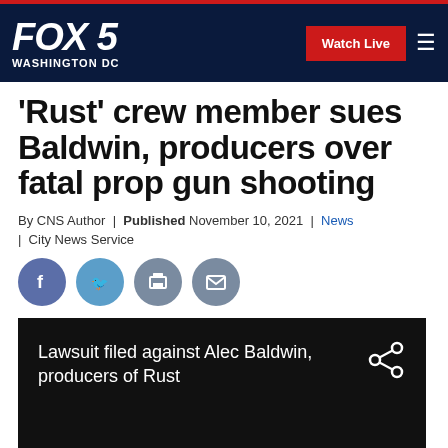FOX 5 WASHINGTON DC | Watch Live
'Rust' crew member sues Baldwin, producers over fatal prop gun shooting
By CNS Author | Published November 10, 2021 | News | City News Service
[Figure (screenshot): Lawsuit filed against Alec Baldwin, producers of Rust — video thumbnail]
Lawsuit filed against Alec Baldwin, producers of Rust